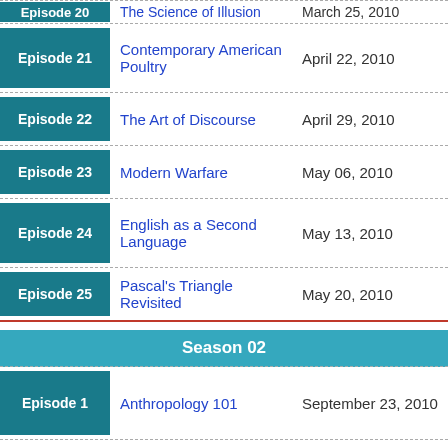| Episode | Title | Date |
| --- | --- | --- |
| Episode 20 | The Science of Illusion | March 25, 2010 |
| Episode 21 | Contemporary American Poultry | April 22, 2010 |
| Episode 22 | The Art of Discourse | April 29, 2010 |
| Episode 23 | Modern Warfare | May 06, 2010 |
| Episode 24 | English as a Second Language | May 13, 2010 |
| Episode 25 | Pascal's Triangle Revisited | May 20, 2010 |
Season 02
| Episode | Title | Date |
| --- | --- | --- |
| Episode 1 | Anthropology 101 | September 23, 2010 |